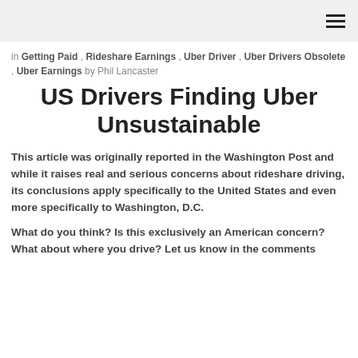[hamburger menu icon]
in Getting Paid , Rideshare Earnings , Uber Driver , Uber Drivers Obsolete , Uber Earnings by Phil Lancaster
US Drivers Finding Uber Unsustainable
This article was originally reported in the Washington Post and while it raises real and serious concerns about rideshare driving, its conclusions apply specifically to the United States and even more specifically to Washington, D.C.
What do you think? Is this exclusively an American concern? What about where you drive? Let us know in the comments